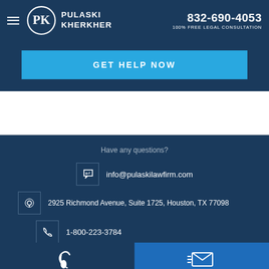PULASKI KHERKHER | 832-690-4053 | 100% FREE LEGAL CONSULTATION
GET HELP NOW
Have any questions?
info@pulaskilawfirm.com
2925 Richmond Avenue, Suite 1725, Houston, TX 77098
1-800-223-3784